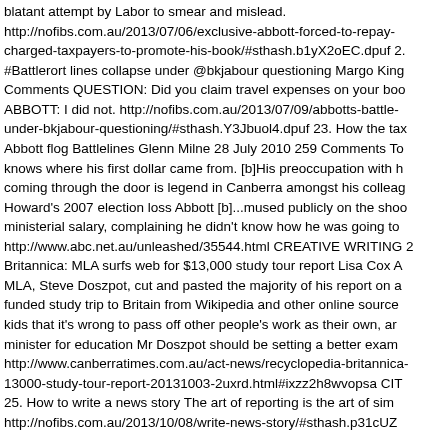blatant attempt by Labor to smear and mislead. http://nofibs.com.au/2013/07/06/exclusive-abbott-forced-to-repay-charged-taxpayers-to-promote-his-book/#sthash.b1yX2oEC.dpuf 2. #Battlerort lines collapse under @bkjabour questioning Margo King Comments QUESTION: Did you claim travel expenses on your boo ABBOTT: I did not. http://nofibs.com.au/2013/07/09/abbotts-battle-under-bkjabour-questioning/#sthash.Y3Jbuol4.dpuf 23. How the tax Abbott flog Battlelines Glenn Milne 28 July 2010 259 Comments To knows where his first dollar came from. [b]His preoccupation with h coming through the door is legend in Canberra amongst his colleag Howard's 2007 election loss Abbott [b]...mused publicly on the shoo ministerial salary, complaining he didn't know how he was going to http://www.abc.net.au/unleashed/35544.html CREATIVE WRITING 2 Britannica: MLA surfs web for $13,000 study tour report Lisa Cox A MLA, Steve Doszpot, cut and pasted the majority of his report on a funded study trip to Britain from Wikipedia and other online source kids that it's wrong to pass off other people's work as their own, ar minister for education Mr Doszpot should be setting a better exam http://www.canberratimes.com.au/act-news/recyclopedia-britannica-13000-study-tour-report-20131003-2uxrd.html#ixzz2h8wvopsa CIT 25. How to write a news story The art of reporting is the art of sim http://nofibs.com.au/2013/10/08/write-news-story/#sthash.p31cUZ